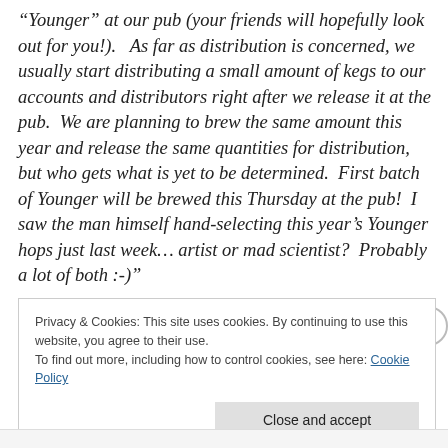“Younger” at our pub (your friends will hopefully look out for you!).   As far as distribution is concerned, we usually start distributing a small amount of kegs to our accounts and distributors right after we release it at the pub.  We are planning to brew the same amount this year and release the same quantities for distribution, but who gets what is yet to be determined.  First batch of Younger will be brewed this Thursday at the pub!  I saw the man himself hand-selecting this year’s Younger hops just last week… artist or mad scientist?  Probably a lot of both :-)”
Privacy & Cookies: This site uses cookies. By continuing to use this website, you agree to their use.
To find out more, including how to control cookies, see here: Cookie Policy